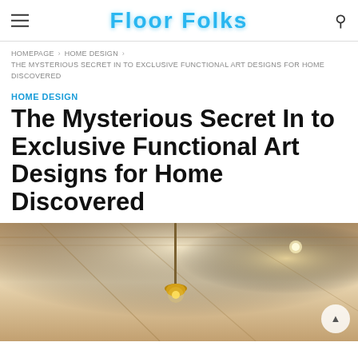Floor Folks
HOMEPAGE › HOME DESIGN › THE MYSTERIOUS SECRET IN TO EXCLUSIVE FUNCTIONAL ART DESIGNS FOR HOME DISCOVERED
HOME DESIGN
The Mysterious Secret In to Exclusive Functional Art Designs for Home Discovered
[Figure (photo): Interior hallway/ceiling photo with warm lighting and a pendant lamp, partially visible]